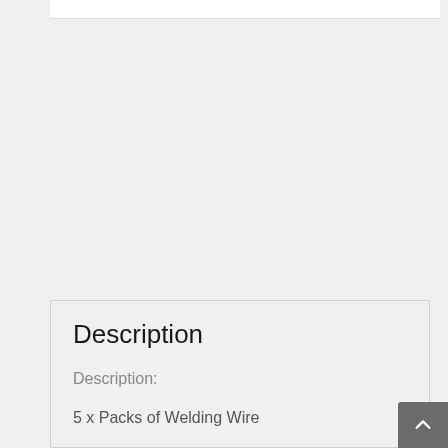Description
Description:
5 x Packs of Welding Wire